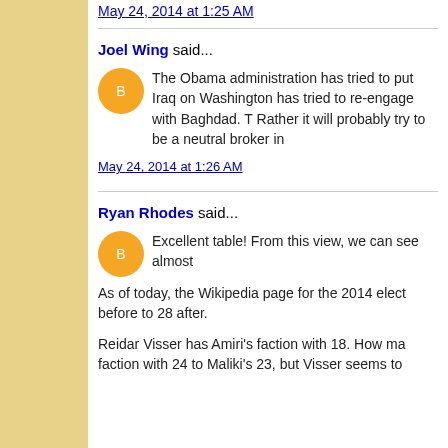May 24, 2014 at 1:25 AM
Joel Wing said...
The Obama administration has tried to put Iraq on Washington has tried to re-engage with Baghdad. T Rather it will probably try to be a neutral broker in
May 24, 2014 at 1:26 AM
Ryan Rhodes said...
Excellent table! From this view, we can see almost
As of today, the Wikipedia page for the 2014 elect before to 28 after.
Reidar Visser has Amiri's faction with 18. How ma faction with 24 to Maliki's 23, but Visser seems to